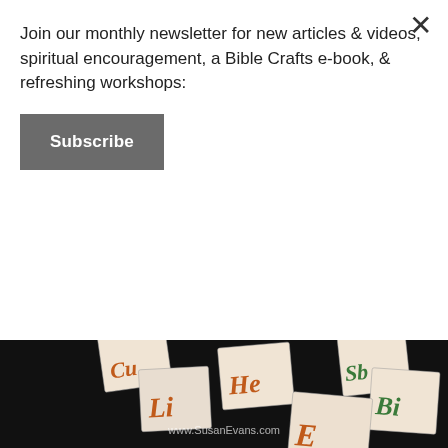Join our monthly newsletter for new articles & videos, spiritual encouragement, a Bible Crafts e-book, & refreshing workshops:
Subscribe
[Figure (photo): Close-up photograph of periodic table element cards laid out on a black surface, showing element symbols including He, Li, Bi, Sb, and E in large letters. Watermark reads www.SusanEvans.com]
This post contains affiliate links. I was compensated for my work in writing t
Today I will show you how to make your own element cards for the Periodic Elements. We are using Christian Kids Explore Chemistry by Bright Ideas study elementary-level chemistry, and one of the activities throughout the b make element cards. You do not have to make element cards for eve element on the periodic table, but if you do, you can make this giant Perio Puzzle!
You will need some blank 3 by 5 cards. We decided to write the chemical with bubble letters that we color-coded according to whether the eleme